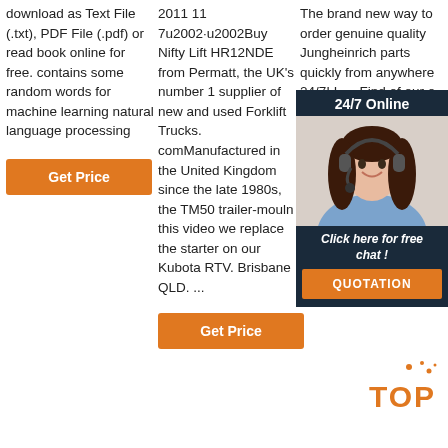download as Text File (.txt), PDF File (.pdf) or read book online for free. contains some random words for machine learning natural language processing
[Figure (other): Orange 'Get Price' button in column 1]
2011 11 7u2002·u2002Buy Nifty Lift HR12NDE from Permatt, the UK's number 1 supplier of new and used Forklift Trucks. comManufactured in the United Kingdom since the late 1980s, the TM50 trailer-mouln this video we replace the starter on our Kubota RTV. Brisbane QLD. ...
[Figure (other): Orange 'Get Price' button in column 2]
The brand new way to order genuine quality Jungheinrich parts quickly from anywhere 24/7! L ... Find of our o stacke the be your w Learn Powe perfo narrow-aisle warehouses. ... Jungheinrich AMX 10 manual hydraulic scissor lift pallet truck.
[Figure (other): Chat widget overlay: 24/7 Online header, agent photo, 'Click here for free chat!', QUOTATION button]
[Figure (logo): TOP logo with orange sparkles]